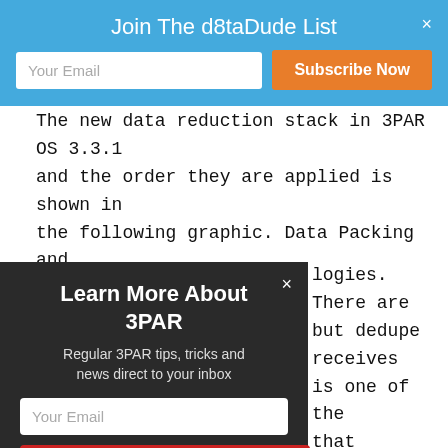Join The d8taDude List
[Figure (screenshot): Email subscription banner with 'Your Email' input and orange 'Subscribe Now' button on blue background]
The new data reduction stack in 3PAR OS 3.3.1 and the order they are applied is shown in the following graphic. Data Packing and [...]logies. There are [...] but dedupe receives [...] is one of the [...] that removes zeros [...] are probably already [...] focus on the new [...] stepping through
[Figure (screenshot): Dark popup overlay: 'Learn More About 3PAR' with subtitle 'Regular 3PAR tips, tricks and news direct to your inbox', email input, and red Subscribe Now button]